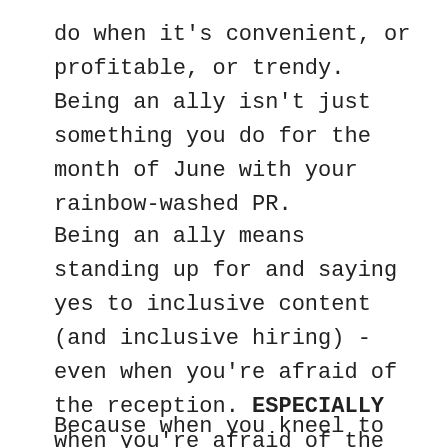do when it's convenient, or profitable, or trendy. Being an ally isn't just something you do for the month of June with your rainbow-washed PR.
Being an ally means standing up for and saying yes to inclusive content (and inclusive hiring) - even when you're afraid of the reception. ESPECIALLY when you're afraid of the reception. That is THE TIME to be an ally.
Because when you kneel to the